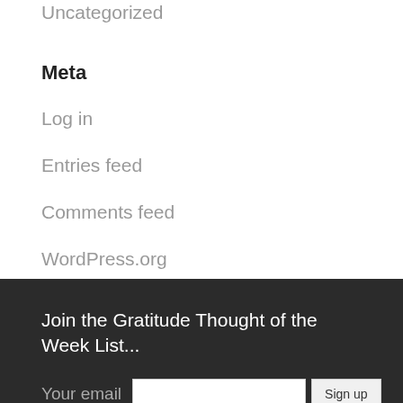Uncategorized
Meta
Log in
Entries feed
Comments feed
WordPress.org
Join the Gratitude Thought of the Week List...
Your email